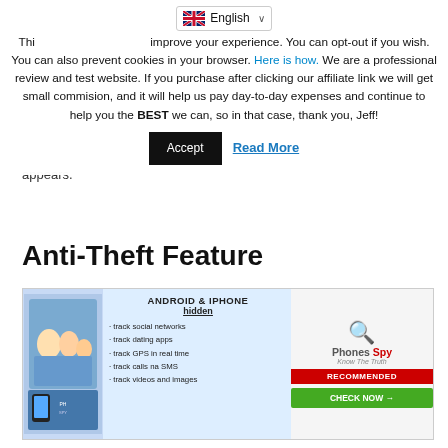This site uses cookies to improve your experience. You can opt-out if you wish. You can also prevent cookies in your browser. Here is how. We are a professional review and test website. If you purchase after clicking our affiliate link we will get small commision, and it will help us pay day-to-day expenses and continue to help you the BEST we can, so in that case, thank you, Jeff!
Accept   Read More
appears.
Anti-Theft Feature
[Figure (infographic): Ad banner for Phones Spy app showing Android & iPhone hidden tracking features including track social networks, track dating apps, track GPS in real time, track calls na SMS, track videos and images. Right side shows Phones Spy logo with RECOMMENDED badge and CHECK NOW button.]